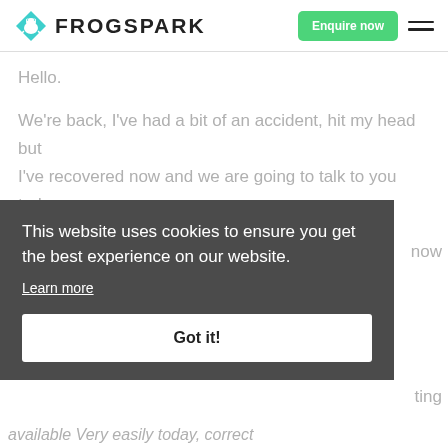[Figure (logo): Frogspark logo: teal diamond shape with white frog icon, followed by text FROGSPARK in bold uppercase]
Hello.
We're back, I've had a bit of an accident, hit my head but I've recovered now and we are going to talk to you today about backlinks. So I'm sure you are aware of backlinks,
This website uses cookies to ensure you get the best experience on our website.
Learn more
Got it!
now
ting